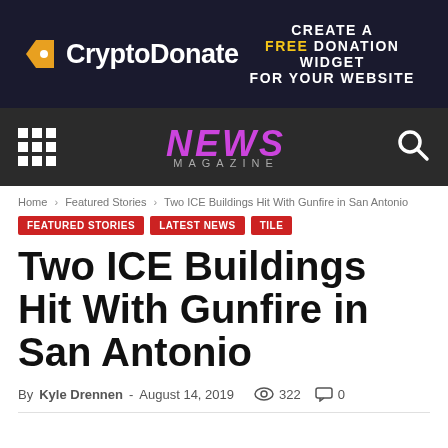[Figure (screenshot): CryptoDonate banner advertisement with dark navy background showing logo and text 'CREATE A FREE DONATION WIDGET FOR YOUR WEBSITE']
NEWS MAGAZINE navigation bar with grid menu icon and search icon
Home > Featured Stories > Two ICE Buildings Hit With Gunfire in San Antonio
FEATURED STORIES
LATEST NEWS
TILE
Two ICE Buildings Hit With Gunfire in San Antonio
By Kyle Drennen - August 14, 2019  322  0